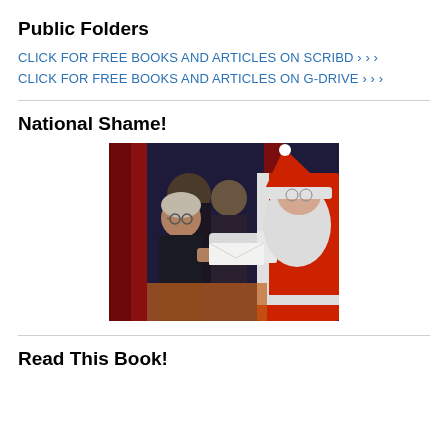Public Folders
CLICK FOR FREE BOOKS AND ARTICLES ON SCRIBD › › ›
CLICK FOR FREE BOOKS AND ARTICLES ON G-DRIVE › › ›
National Shame!
[Figure (photo): Photo of an elderly man receiving something from a person dressed as Santa Claus, with red curtains in the background and another person standing behind.]
Read This Book!